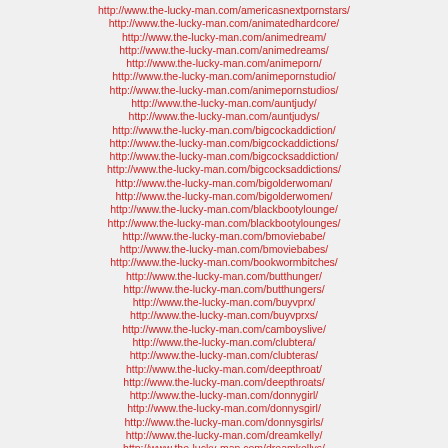http://www.the-lucky-man.com/americasnextpornstars/
http://www.the-lucky-man.com/animatedhardcore/
http://www.the-lucky-man.com/animedream/
http://www.the-lucky-man.com/animedreams/
http://www.the-lucky-man.com/animeporn/
http://www.the-lucky-man.com/animepornstudio/
http://www.the-lucky-man.com/animepornstudios/
http://www.the-lucky-man.com/auntjudy/
http://www.the-lucky-man.com/auntjudys/
http://www.the-lucky-man.com/bigcockaddiction/
http://www.the-lucky-man.com/bigcockaddictions/
http://www.the-lucky-man.com/bigcocksaddiction/
http://www.the-lucky-man.com/bigcocksaddictions/
http://www.the-lucky-man.com/bigolderwoman/
http://www.the-lucky-man.com/bigolderwomen/
http://www.the-lucky-man.com/blackbootylounge/
http://www.the-lucky-man.com/blackbootylounges/
http://www.the-lucky-man.com/bmoviebabe/
http://www.the-lucky-man.com/bmoviebabes/
http://www.the-lucky-man.com/bookwormbitches/
http://www.the-lucky-man.com/butthunger/
http://www.the-lucky-man.com/butthungers/
http://www.the-lucky-man.com/buyvprx/
http://www.the-lucky-man.com/buyvprxs/
http://www.the-lucky-man.com/camboyslive/
http://www.the-lucky-man.com/clubtera/
http://www.the-lucky-man.com/clubteras/
http://www.the-lucky-man.com/deepthroat/
http://www.the-lucky-man.com/deepthroats/
http://www.the-lucky-man.com/donnygirl/
http://www.the-lucky-man.com/donnysgirl/
http://www.the-lucky-man.com/donnysgirls/
http://www.the-lucky-man.com/dreamkelly/
http://www.the-lucky-man.com/dreamkellys/
http://www.the-lucky-man.com/eurobridetryouts/
http://www.the-lucky-man.com/fullbush/
http://www.the-lucky-man.com/fullbushs/
http://www.the-lucky-man.com/hardcoreblondeslut/